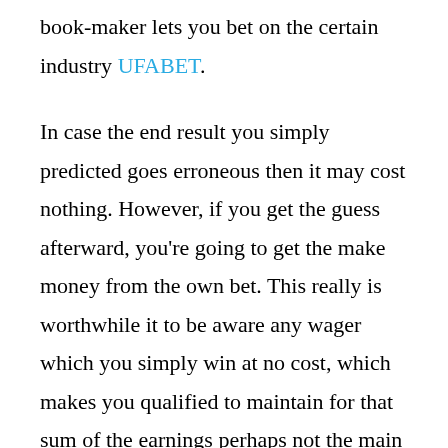book-maker lets you bet on the certain industry UFABET.
In case the end result you simply predicted goes erroneous then it may cost nothing. However, if you get the guess afterward, you're going to get the make money from the own bet. This really is worthwhile it to be aware any wager which you simply win at no cost, which makes you qualified to maintain for that sum of the earnings perhaps not the main city spent onto it. For example if a stake values twenty five bucks along with your own pick will be 3:1 and you assume that the bet, then then a sum of